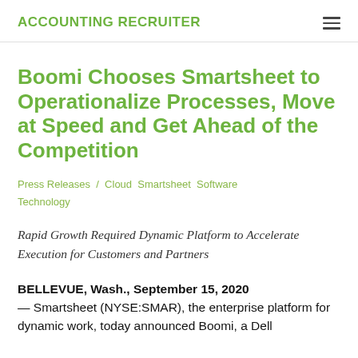ACCOUNTING RECRUITER
Boomi Chooses Smartsheet to Operationalize Processes, Move at Speed and Get Ahead of the Competition
Press Releases / Cloud  Smartsheet  Software  Technology
Rapid Growth Required Dynamic Platform to Accelerate Execution for Customers and Partners
BELLEVUE, Wash., September 15, 2020 — Smartsheet (NYSE:SMAR), the enterprise platform for dynamic work, today announced Boomi, a Dell